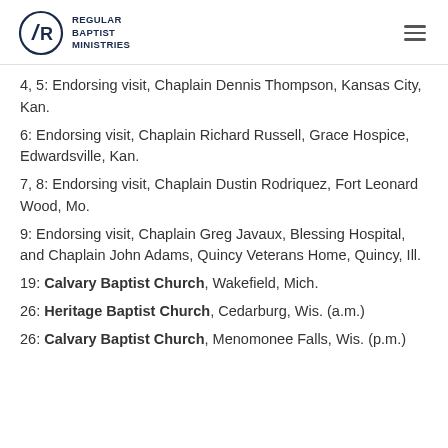Regular Baptist Ministries
4, 5: Endorsing visit, Chaplain Dennis Thompson, Kansas City, Kan.
6: Endorsing visit, Chaplain Richard Russell, Grace Hospice, Edwardsville, Kan.
7, 8: Endorsing visit, Chaplain Dustin Rodriquez, Fort Leonard Wood, Mo.
9: Endorsing visit, Chaplain Greg Javaux, Blessing Hospital, and Chaplain John Adams, Quincy Veterans Home, Quincy, Ill.
19: Calvary Baptist Church, Wakefield, Mich.
26: Heritage Baptist Church, Cedarburg, Wis. (a.m.)
26: Calvary Baptist Church, Menomonee Falls, Wis. (p.m.)